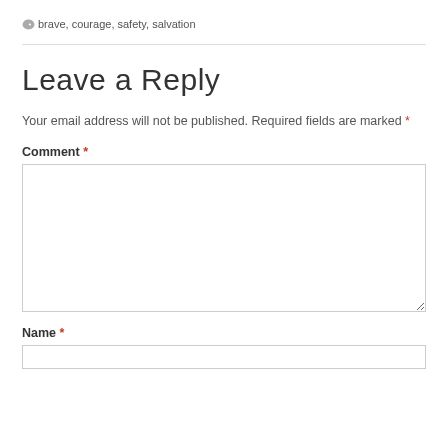brave, courage, safety, salvation
Leave a Reply
Your email address will not be published. Required fields are marked *
Comment *
Name *